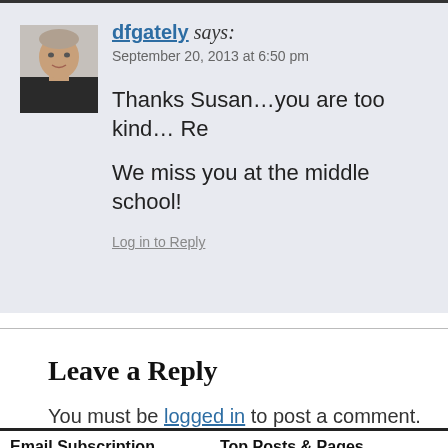[Figure (photo): Avatar photo of dfgately, a man in a dark shirt]
dfgately says:
September 20, 2013 at 6:50 pm

Thanks Susan…you are too kind… Re

We miss you at the middle school!

Log in to Reply
Leave a Reply
You must be logged in to post a comment.
Email Subscription
Enter your email address to subscribe to this blog and receive notifications of new posts by email.
Top Posts & Pages
[Figure (photo): Two thumbnail photos under Top Posts & Pages]